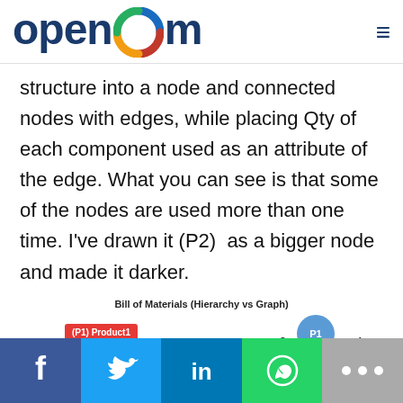openbom
structure into a node and connected nodes with edges, while placing Qty of each component used as an attribute of the edge. What you can see is that some of the nodes are used more than one time. I’ve drawn it (P2) as a bigger node and made it darker.
Bill of Materials (Hierarchy vs Graph)
[Figure (other): Partial diagram showing a red rectangle node labeled (P1) Product1 and a blue circle node labeled P1, with edge labels 3 and 1]
[Figure (other): Social sharing bar with Facebook, Twitter, LinkedIn, WhatsApp, and More buttons]